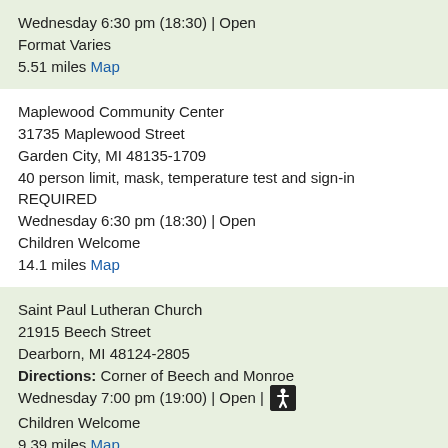Wednesday 6:30 pm (18:30) | Open
Format Varies
5.51 miles Map
Maplewood Community Center
31735 Maplewood Street
Garden City, MI 48135-1709
40 person limit, mask, temperature test and sign-in REQUIRED
Wednesday 6:30 pm (18:30) | Open
Children Welcome
14.1 miles Map
Saint Paul Lutheran Church
21915 Beech Street
Dearborn, MI 48124-2805
Directions: Corner of Beech and Monroe
Wednesday 7:00 pm (19:00) | Open | [wheelchair accessible]
Children Welcome
9.39 miles Map
Aldersgate United Methodist Church
10000 Beech Daly Road
Redford, MI 48239
at Orangelawn, in the basement, no meeting on Redford Schools snow days